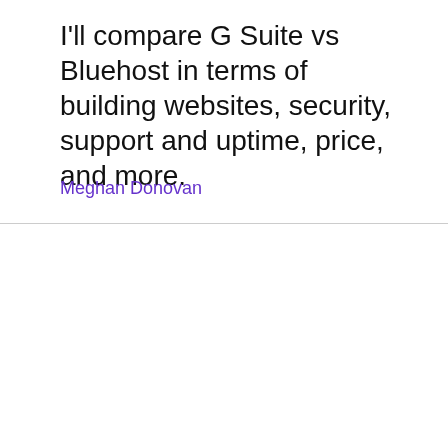I'll compare G Suite vs Bluehost in terms of building websites, security, support and uptime, price, and more.
Meghan Donovan
Suitebriar uses cookies to improve your website experience, promote products, and provide more personalized services to you, both on this website and through other media. By clicking Accept and continuing to use this website, you agree to our privacy policy.
No, give me more info
Accept